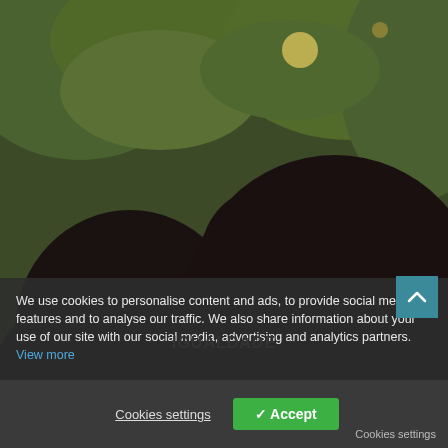[Figure (photo): Two women smiling at the camera outdoors. The woman on the left has long dark hair and light-medium skin tone, wearing a dark striped top. The woman on the right has a large natural afro hairstyle, wears glasses, gold earrings, a necklace, and a navy/white striped shirt. Background shows green foliage and warm lighting.]
We use cookies to personalise content and ads, to provide social media features and to analyse our traffic. We also share information about your use of our site with our social media, advertising and analytics partners. View more
IGUALDADE
Cookies settings
✓ Accept
Cookies settings